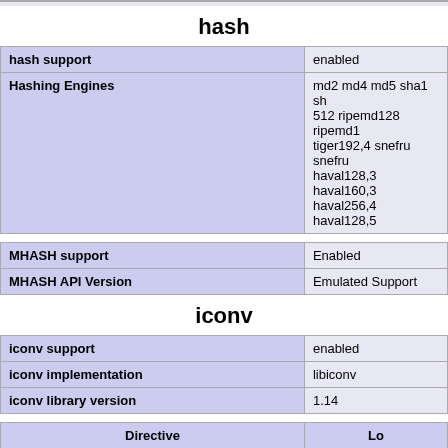hash
|  |  |
| --- | --- |
| hash support | enabled |
| Hashing Engines | md2 md4 md5 sha1 sha 512 ripemd128 ripemd1 tiger192,4 snefru snefru haval128,3 haval160,3 haval256,4 haval128,5 |
|  |  |
| --- | --- |
| MHASH support | Enabled |
| MHASH API Version | Emulated Support |
iconv
|  |  |
| --- | --- |
| iconv support | enabled |
| iconv implementation | libiconv |
| iconv library version | 1.14 |
| Directive | Lo |
| --- | --- |
| iconv.input_encoding | no value |
| iconv.internal_encoding | no value |
| iconv.output_encoding | no value |